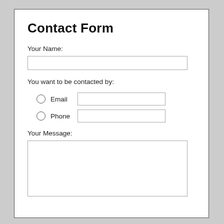Contact Form
Your Name:
You want to be contacted by:
Email
Phone
Your Message: